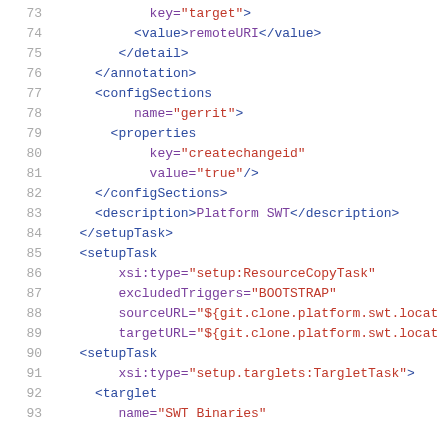Code listing lines 73-93 showing XML configuration with setupTask, configSections, properties, and targlet elements